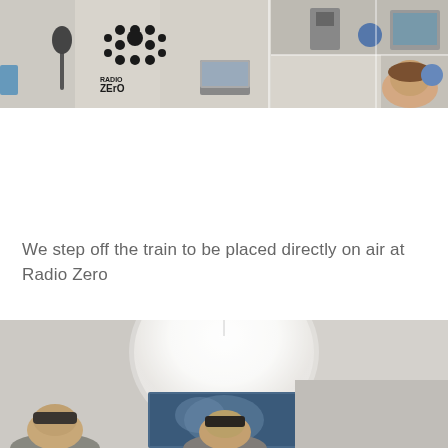[Figure (photo): Composite photo of a radio studio interior showing Radio Zero branding with a decorative dot-pattern snowflake logo, acoustic foam panels, laptops, computer equipment, and a person peeking from the right side.]
We step off the train to be placed directly on air at Radio Zero
[Figure (photo): Indoor photo showing people in a room with a large glowing white spherical lamp hanging from the ceiling and a painting or screen visible in the background.]